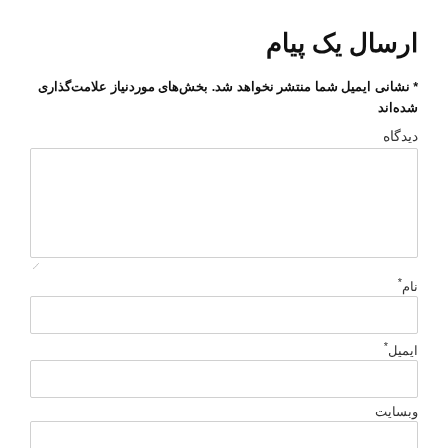ارسال یک پیام
* نشانی ایمیل شما منتشر نخواهد شد. بخش‌های موردنیاز علامت‌گذاری شده‌اند
دیدگاه
[Figure (other): Large text area input field for comment]
\
نام *
[Figure (other): Text input field for name]
ایمیل *
[Figure (other): Text input field for email]
وبسایت
[Figure (other): Text input field for website]
[Figure (other): Checkbox]